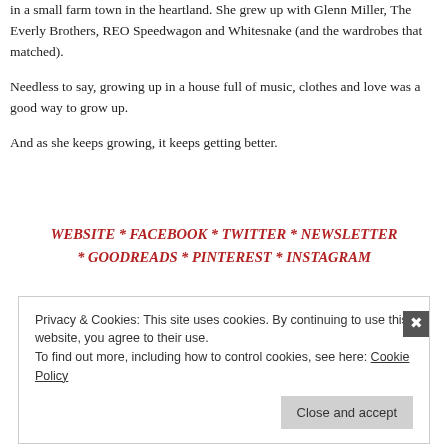in a small farm town in the heartland. She grew up with Glenn Miller, The Everly Brothers, REO Speedwagon and Whitesnake (and the wardrobes that matched).
Needless to say, growing up in a house full of music, clothes and love was a good way to grow up.
And as she keeps growing, it keeps getting better.
WEBSITE * FACEBOOK * TWITTER * NEWSLETTER * GOODREADS * PINTEREST * INSTAGRAM
Privacy & Cookies: This site uses cookies. By continuing to use this website, you agree to their use.
To find out more, including how to control cookies, see here: Cookie Policy
Close and accept